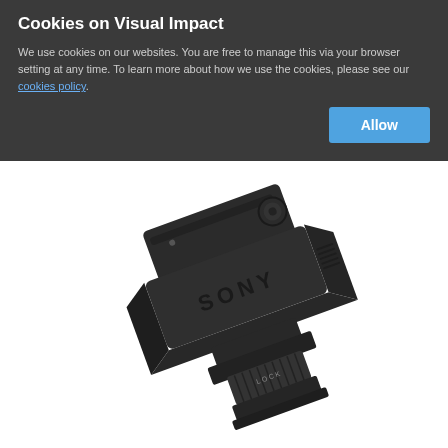Cookies on Visual Impact
We use cookies on our websites. You are free to manage this via your browser setting at any time. To learn more about how we use the cookies, please see our cookies policy.
[Figure (photo): Sony brand camera microphone/shoe mount accessory, black, shown at an angle on white background]